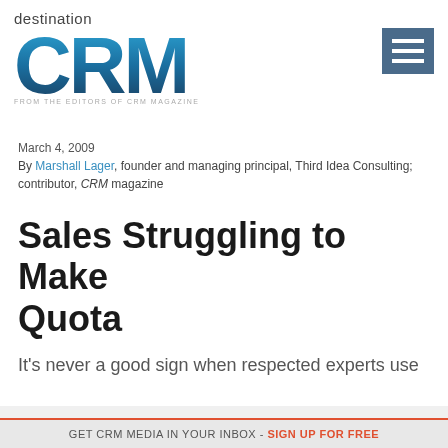[Figure (logo): Destination CRM logo with large blue gradient 'CRM' letters and tagline 'FROM THE EDITORS OF CRM MAGAZINE']
[Figure (other): Hamburger menu icon - three white horizontal lines on dark blue-gray background]
March 4, 2009
By Marshall Lager, founder and managing principal, Third Idea Consulting; contributor, CRM magazine
Sales Struggling to Make Quota
It's never a good sign when respected experts use
GET CRM MEDIA IN YOUR INBOX - SIGN UP FOR FREE